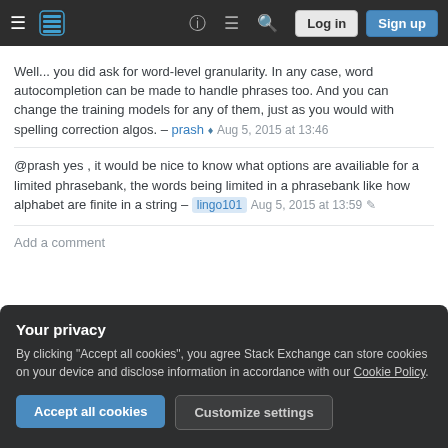Stack Exchange navigation bar with hamburger menu, logo, help, chat, search icons, Log in and Sign up buttons
Well... you did ask for word-level granularity. In any case, word autocompletion can be made to handle phrases too. And you can change the training models for any of them, just as you would with spelling correction algos. – prash ♦ Aug 5, 2015 at 13:46
@prash yes , it would be nice to know what options are availiable for a limited phrasebank, the words being limited in a phrasebank like how alphabet are finite in a string – lingo101 Aug 5, 2015 at 13:59
Add a comment
Your privacy
By clicking "Accept all cookies", you agree Stack Exchange can store cookies on your device and disclose information in accordance with our Cookie Policy.
Accept all cookies
Customize settings